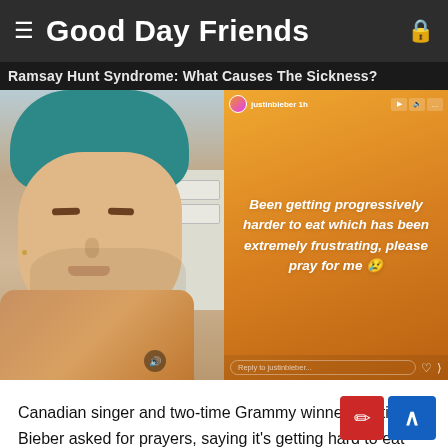Good Day Friends
Ramsay Hunt Syndrome: What Causes The Sickness?
[Figure (photo): Two-panel image: left panel shows Justin Bieber with eyes half-closed wearing a teal beanie hat and flannel shirt; right panel shows an Instagram story on an orange/yellow gradient background with white italic bold text reading 'Been getting progressively harder to eat which has been extremely frustrating, please pray for me' with an emoji]
Canadian singer and two-time Grammy winner, Justin Bieber asked for prayers, saying it's getting hard to eat due to Ramsay Hunt syndrome. What is Ramsay Hunt syndrome [and] ha[t] causes the sickness? Wishing him the speediest recovery